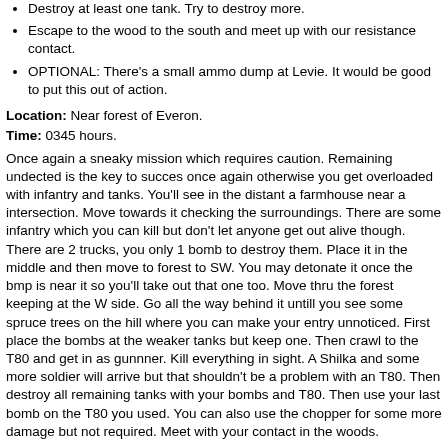Destroy at least one tank. Try to destroy more.
Escape to the wood to the south and meet up with our resistance contact.
OPTIONAL: There's a small ammo dump at Levie. It would be good to put this out of action.
Location: Near forest of Everon.
Time: 0345 hours.
Once again a sneaky mission which requires caution. Remaining undected is the key to succes once again otherwise you get overloaded with infantry and tanks. You'll see in the distant a farmhouse near a intersection. Move towards it checking the surroundings. There are some infantry which you can kill but don't let anyone get out alive though. There are 2 trucks, you only 1 bomb to destroy them. Place it in the middle and then move to forest to SW. You may detonate it once the bmp is near it so you'll take out that one too. Move thru the forest keeping at the W side. Go all the way behind it untill you see some spruce trees on the hill where you can make your entry unnoticed. First place the bombs at the weaker tanks but keep one. Then crawl to the T80 and get in as gunnner. Kill everything in sight. A Shilka and some more soldier will arrive but that shouldn't be a problem with an T80. Then destroy all remaining tanks with your bombs and T80. Then use your last bomb on the T80 you used. You can also use the chopper for some more damage but not required. Meet with your contact in the woods.